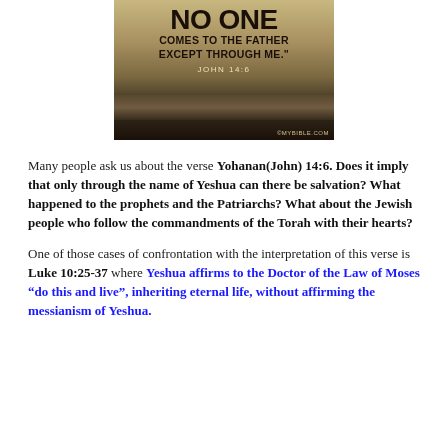[Figure (illustration): Religious image with dark ocean/landscape background showing the text 'NO ONE COMES TO THE FATHER EXCEPT THROUGH ME.' and 'JOHN 14:6' with mybible.com watermark]
Many people ask us about the verse Yohanan(John) 14:6. Does it imply that only through the name of Yeshua can there be salvation? What happened to the prophets and the Patriarchs? What about the Jewish people who follow the commandments of the Torah with their hearts?
One of those cases of confrontation with the interpretation of this verse is Luke 10:25-37 where Yeshua affirms to the Doctor of the Law of Moses “do this and live”, inheriting eternal life, without affirming the messianism of Yeshua.